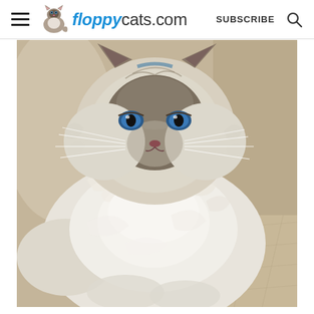floppycats.com  SUBSCRIBE
[Figure (photo): Close-up photo of a fluffy Ragdoll cat with blue eyes and dark facial markings, sitting on a tan/beige quilted surface. The cat has long white and cream fur with darker coloring on its face and tips.]